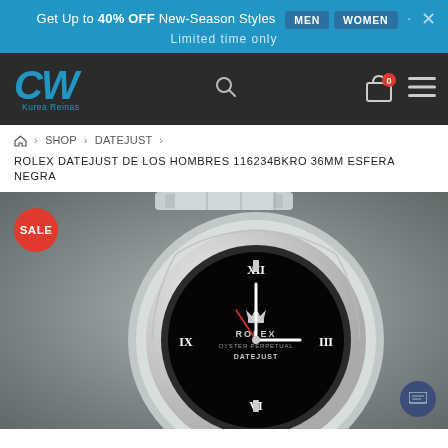Get Up to 40% OFF New-Season Styles MEN WOMEN Limited time only
[Figure (logo): CW Kurea Reinas brand logo in blue on dark navigation bar]
Home > SHOP > DATEJUST >
ROLEX DATEJUST DE LOS HOMBRES 116234BKRO 36MM ESFERA NEGRA
[Figure (photo): Close-up photo of a Rolex Datejust men's watch with black dial showing ROLEX OYSTER PERPETUAL DATEJUST text, fluted bezel, and oyster bracelet. A red SALE badge is in the top left corner.]